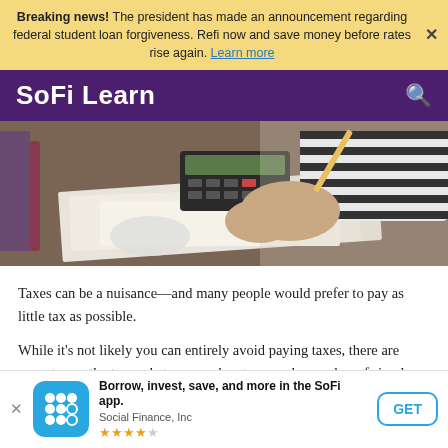Breaking news! The president has made an announcement regarding federal student loan forgiveness. Refi now and save money before rates rise again. Learn more
SoFi Learn
[Figure (photo): Person in striped shirt writing on papers at a desk with a calculator nearby, overhead view]
Taxes can be a nuisance—and many people would prefer to pay as little tax as possible.
While it's not likely you can entirely avoid paying taxes, there are ways to use the tax code to your advantage, and a number of simple steps you can take that may lower your
Borrow, invest, save, and more in the SoFi app. Social Finance, Inc ★★★★½